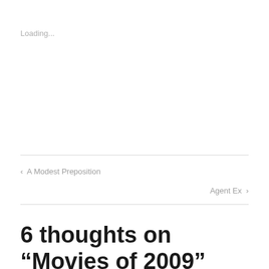Loading...
‹  A Modest Preposition
Agent Ex  ›
6 thoughts on “Movies of 2009”